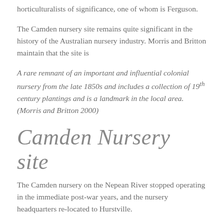horticulturalists of significance, one of whom is Ferguson.
The Camden nursery site remains quite significant in the history of the Australian nursery industry. Morris and Britton maintain that the site is
A rare remnant of an important and influential colonial nursery from the late 1850s and includes a collection of 19th century plantings and is a landmark in the local area.  (Morris and Britton 2000)
Camden Nursery site
The Camden nursery on the Nepean River stopped operating in the immediate post-war years, and the nursery headquarters re-located to Hurstville.